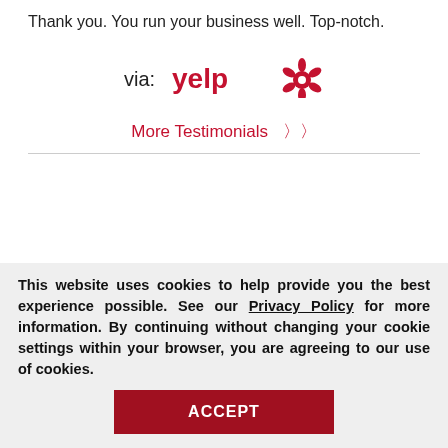Thank you. You run your business well. Top-notch.
[Figure (logo): Yelp logo with text 'via: yelp' and red burst icon]
More Testimonials »
This website uses cookies to help provide you the best experience possible. See our Privacy Policy for more information. By continuing without changing your cookie settings within your browser, you are agreeing to our use of cookies.
ACCEPT